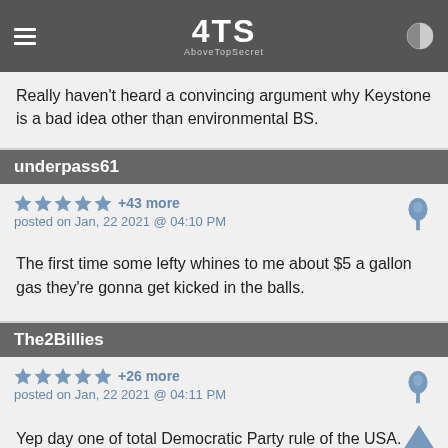4TS AboveTopSecret
Really haven't heard a convincing argument why Keystone is a bad idea other than environmental BS.
underpass61
★★★★★ +43 more
posted on Jan, 22 2021 @ 04:10 PM
The first time some lefty whines to me about $5 a gallon gas they're gonna get kicked in the balls.
The2Billies
★★★★★ +26 more
posted on Jan, 22 2021 @ 04:11 PM
Yep day one of total Democratic Party rule of the USA.